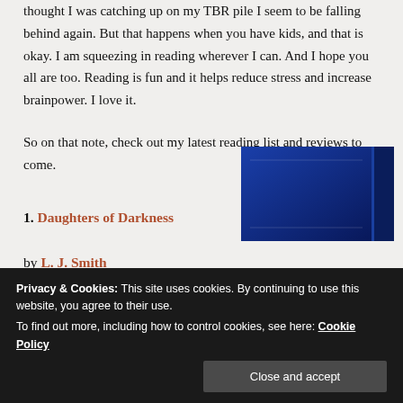thought I was catching up on my TBR pile I seem to be falling behind again. But that happens when you have kids, and that is okay. I am squeezing in reading wherever I can. And I hope you all are too. Reading is fun and it helps reduce stress and increase brainpower. I love it.
So on that note, check out my latest reading list and reviews to come.
1. Daughters of Darkness
by L. J. Smith
[Figure (photo): Partial view of a dark blue book cover with decorative design, partially obscured by cookie consent banner]
Privacy & Cookies: This site uses cookies. By continuing to use this website, you agree to their use.
To find out more, including how to control cookies, see here: Cookie Policy